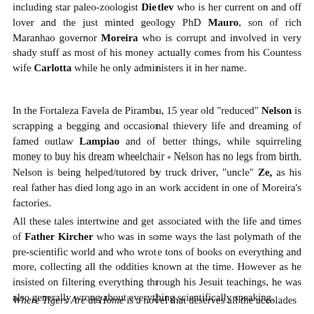including star paleo-zoologist Dietlev who is her current on and off lover and the just minted geology PhD Mauro, son of rich Maranhao governor Moreira who is corrupt and involved in very shady stuff as most of his money actually comes from his Countess wife Carlotta while he only administers it in her name.
In the Fortaleza Favela de Pirambu, 15 year old "reduced" Nelson is scrapping a begging and occasional thievery life and dreaming of famed outlaw Lampiao and of better things, while squirreling money to buy his dream wheelchair - Nelson has no legs from birth. Nelson is being helped/tutored by truck driver, "uncle" Ze, as his real father has died long ago in an work accident in one of Moreira's factories.
All these tales intertwine and get associated with the life and times of Father Kircher who was in some ways the last polymath of the pre-scientific world and who wrote tons of books on everything and more, collecting all the oddities known at the time. However as he insisted on filtering everything through his Jesuit teachings, he was also generally wrong about everything scientifically speaking.
Where Tigers Are at Home is a novel that deserves all the accolades